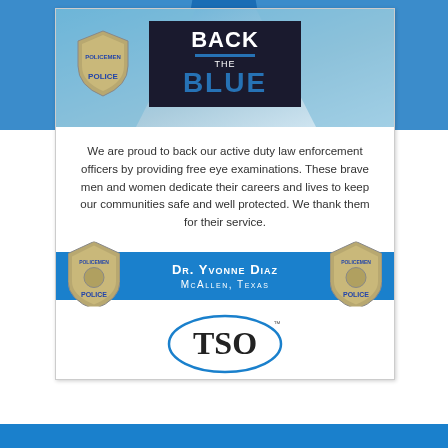[Figure (infographic): Back the Blue campaign advertisement for Texas State Optical by Dr. Yvonne Diaz in McAllen, Texas. Features a dark navy box with BACK THE BLUE text and blue line, police badges on sides, blue banner with doctor name, TSO logo and Since 1936 tagline on white card background with blue top.]
We are proud to back our active duty law enforcement officers by providing free eye examinations. These brave men and women dedicate their careers and lives to keep our communities safe and well protected. We thank them for their service.
DR. YVONNE DIAZ
McALLEN, TEXAS
[Figure (logo): TSO Texas State Optical logo with oval outline containing TSO letters, TEXAS STATE OPTICAL text below, Since 1936 in italic red with decorative lines]